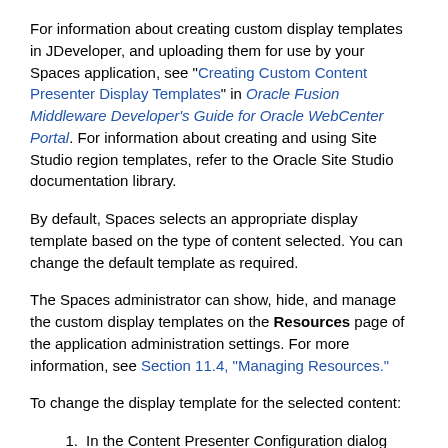For information about creating custom display templates in JDeveloper, and uploading them for use by your Spaces application, see "Creating Custom Content Presenter Display Templates" in Oracle Fusion Middleware Developer's Guide for Oracle WebCenter Portal. For information about creating and using Site Studio region templates, refer to the Oracle Site Studio documentation library.
By default, Spaces selects an appropriate display template based on the type of content selected. You can change the default template as required.
The Spaces administrator can show, hide, and manage the custom display templates on the Resources page of the application administration settings. For more information, see Section 11.4, "Managing Resources."
To change the display template for the selected content:
In the Content Presenter Configuration dialog (see Section 42.3, "Displaying the Content Presenter Configuration Dialog"), click Select Template or the